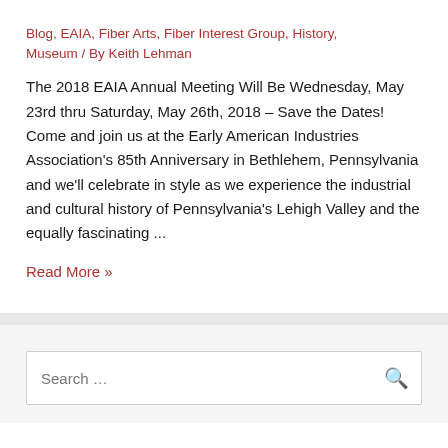Blog, EAIA, Fiber Arts, Fiber Interest Group, History, Museum / By Keith Lehman
The 2018 EAIA Annual Meeting Will Be Wednesday, May 23rd thru Saturday, May 26th, 2018 – Save the Dates! Come and join us at the Early American Industries Association's 85th Anniversary in Bethlehem, Pennsylvania and we'll celebrate in style as we experience the industrial and cultural history of Pennsylvania's Lehigh Valley and the equally fascinating ...
Read More »